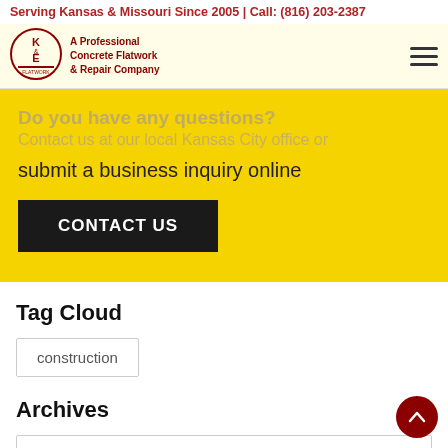Serving Kansas & Missouri Since 2005 | Call: (816) 203-2387
[Figure (logo): K&E Flatwork logo circle with text 'A Professional Concrete Flatwork & Repair Company']
Do you have any questions? Contact us at our local Kansas City office or submit a business inquiry online
CONTACT US
Tag Cloud
construction
Archives
Select Month